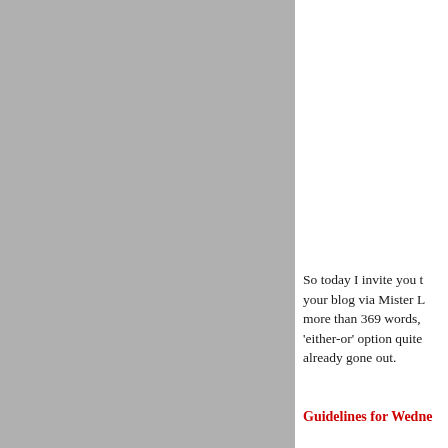[Figure (photo): Gray rectangular panel occupying the left portion of the page]
So today I invite you t... your blog via Mister L... more than 369 words, ... 'either-or' option quite ... already gone out.
Guidelines for Wedne...